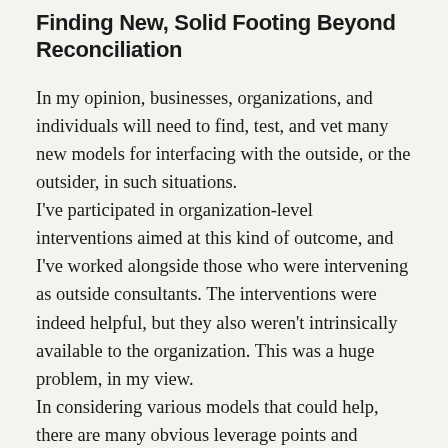Finding New, Solid Footing Beyond Reconciliation
In my opinion, businesses, organizations, and individuals will need to find, test, and vet many new models for interfacing with the outside, or the outsider, in such situations.
I've participated in organization-level interventions aimed at this kind of outcome, and I've worked alongside those who were intervening as outside consultants. The interventions were indeed helpful, but they also weren't intrinsically available to the organization. This was a huge problem, in my view.
In considering various models that could help, there are many obvious leverage points and workarounds. Many of these could be made in situations were the model...